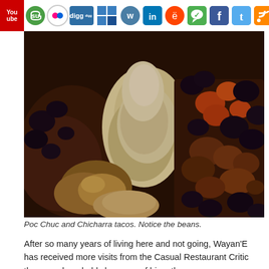YouTube | Stumbleupon | Digg | Delicious | Wordpress | LinkedIn | Reddit | Google+ | Facebook | Twitter | RSS
[Figure (photo): Close-up food photograph of Poc Chuc and Chicharra tacos showing dark beans, braised pork pieces, and tortilla]
Poc Chuc and Chicharra tacos. Notice the beans.
After so many years of living here and not going, Wayan'E has received more visits from the Casual Restaurant Critic than usual, probably because of his rather sparse pocketbook situation (dictionary sales are down this lifetime) and also because Better Half is always on a trip someplace exotic.